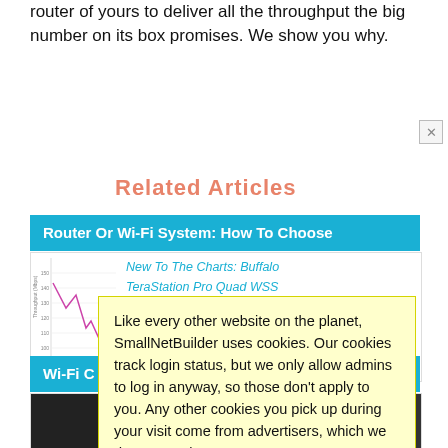router of yours to deliver all the throughput the big number on its box promises. We show you why.
Related Articles
Router Or Wi-Fi System: How To Choose
[Figure (continuous-plot): Small line chart with pink/purple line showing throughput data]
New To The Charts: Buffalo TeraStation Pro Quad WSS
er and ? This uld S NAS e
Buffalo
Wi-Fi C...
300
Like every other website on the planet, SmallNetBuilder uses cookies. Our cookies track login status, but we only allow admins to log in anyway, so those don't apply to you. Any other cookies you pick up during your visit come from advertisers, which we don't control.
If you continue to use the site, you agree to tolerate our use of cookies. Thank you!